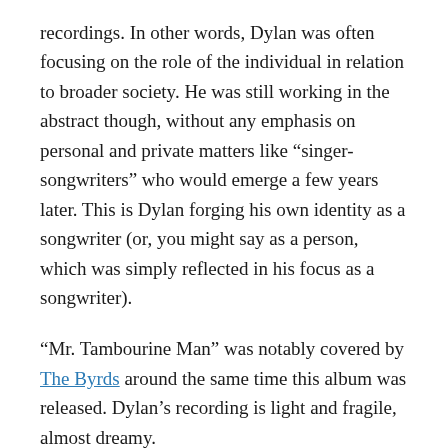recordings.  In other words, Dylan was often focusing on the role of the individual in relation to broader society.  He was still working in the abstract though, without any emphasis on personal and private matters like “singer-songwriters” who would emerge a few years later.  This is Dylan forging his own identity as a songwriter (or, you might say as a person, which was simply reflected in his focus as a songwriter).
“Mr. Tambourine Man” was notably covered by The Byrds around the same time this album was released.  Dylan’s recording is light and fragile, almost dreamy.
Dylan later appeared in the documentary film Dont Look Back and did a sort of early music video where he is seen holding and dropping in sequence a series of cards with